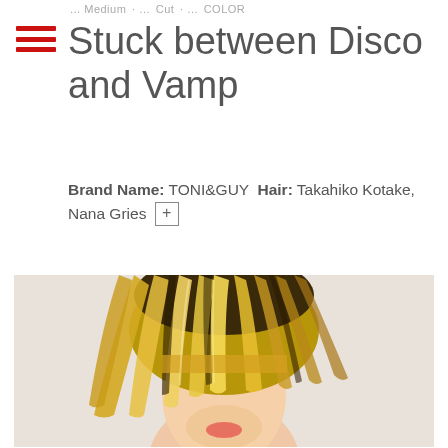... Medium ... Cut ... Color
Stuck between Disco and Vamp
Brand Name: TONI&GUY  Hair: Takahiko Kotake, Nana Gries +
[Figure (photo): Close-up photo of a model with a blond medium-length hairstyle with dark roots and long face-covering bangs, against a light background. Hair styled by Takahiko Kotake and Nana Gries for TONI&GUY.]